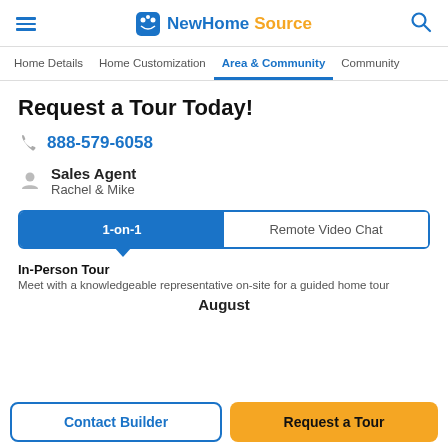NewHomeSource
Home Details | Home Customization | Area & Community | Community
Request a Tour Today!
888-579-6058
Sales Agent
Rachel & Mike
1-on-1 | Remote Video Chat
In-Person Tour
Meet with a knowledgeable representative on-site for a guided home tour
August
Contact Builder
Request a Tour